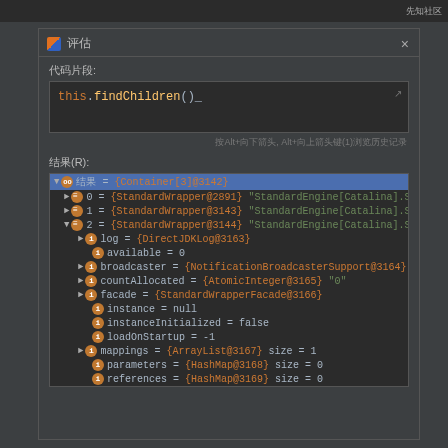[Figure (screenshot): IDE debugger evaluation dialog showing code snippet 'this.findChildren()' and a results tree with container/wrapper objects including StandardEngine[Catalina] entries with properties like log, available, broadcaster, countAllocated, facade, instance, instanceInitialized, loadOnStartup, mappings, parameters, references]
评估
代码片段:
this.findChildren()
按Alt+向下箭头, Alt+向上箭头键(1)浏览历史记录
结果(R):
oo 结果 = {Container[3]@3142}
0 = {StandardWrapper@2891} "StandardEngine[Catalina].Standard
1 = {StandardWrapper@3143} "StandardEngine[Catalina].StandardHo
2 = {StandardWrapper@3144} "StandardEngine[Catalina].Standard
log = {DirectJDKLog@3163}
available = 0
broadcaster = {NotificationBroadcasterSupport@3164}
countAllocated = {AtomicInteger@3165} "0"
facade = {StandardWrapperFacade@3166}
instance = null
instanceInitialized = false
loadOnStartup = -1
mappings = {ArrayList@3167}  size = 1
parameters = {HashMap@3168}  size = 0
references = {HashMap@3169}  size = 0